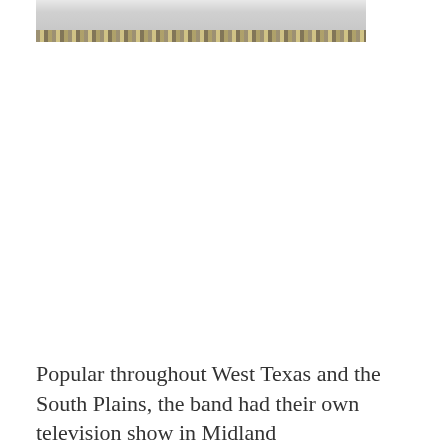[Figure (photo): Partial view of a photograph showing a decorative braided/rope border at the bottom edge, with a light gray or white surface above it.]
Popular throughout West Texas and the South Plains, the band had their own television show in Midland